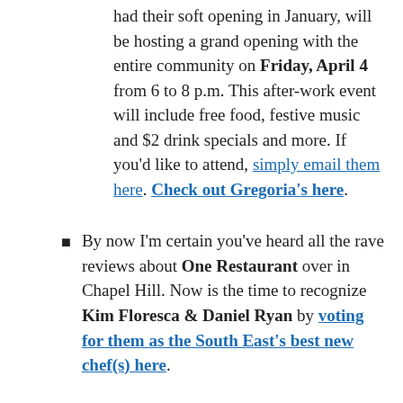had their soft opening in January, will be hosting a grand opening with the entire community on Friday, April 4 from 6 to 8 p.m. This after-work event will include free food, festive music and $2 drink specials and more. If you'd like to attend, simply email them here. Check out Gregoria's here.
By now I'm certain you've heard all the rave reviews about One Restaurant over in Chapel Hill. Now is the time to recognize Kim Floresca & Daniel Ryan by voting for them as the South East's best new chef(s) here.
We also got word this week that the Chapel Hill Farmers' Market will move to the opposite side of University